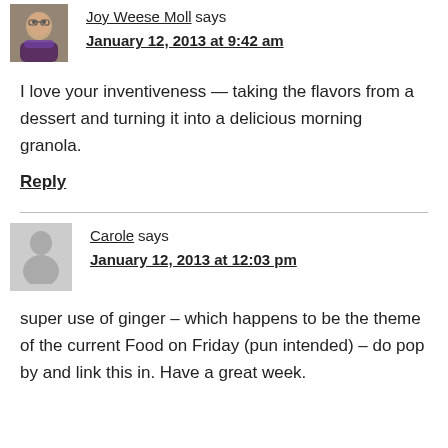Joy Weese Moll says
January 12, 2013 at 9:42 am
I love your inventiveness — taking the flavors from a dessert and turning it into a delicious morning granola.
Reply
Carole says
January 12, 2013 at 12:03 pm
super use of ginger – which happens to be the theme of the current Food on Friday (pun intended) – do pop by and link this in. Have a great week.